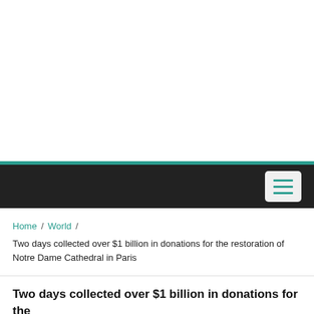Home / World / Two days collected over $1 billion in donations for the restoration of Notre Dame Cathedral in Paris
Two days collected over $1 billion in donations for the